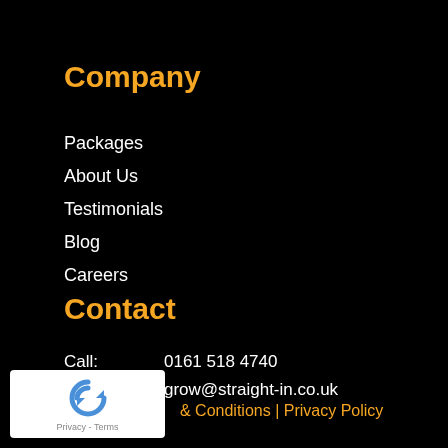Company
Packages
About Us
Testimonials
Blog
Careers
Contact
Call:   0161 518 4740
Email:   grow@straight-in.co.uk
Get in Touch
[Figure (logo): reCAPTCHA Privacy - Terms badge]
& Conditions | Privacy Policy